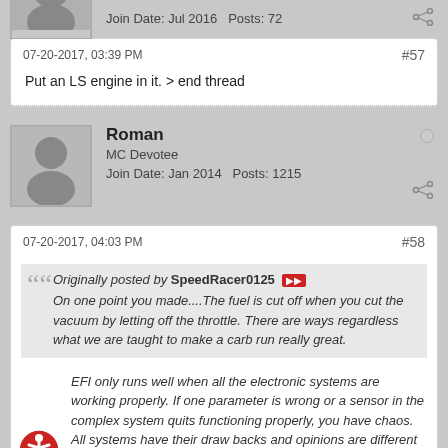Join Date: Jul 2016   Posts: 72
07-20-2017, 03:39 PM  #57
Put an LS engine in it. > end thread
Roman
MC Devotee
Join Date: Jan 2014   Posts: 1215
07-20-2017, 04:03 PM  #58
Originally posted by SpeedRacer0125
On one point you made....The fuel is cut off when you cut the vacuum by letting off the throttle. There are ways regardless what we are taught to make a carb run really great.
EFI only runs well when all the electronic systems are working properly. If one parameter is wrong or a sensor in the complex system quits functioning properly, you have chaos. All systems have their draw backs and opinions are different on